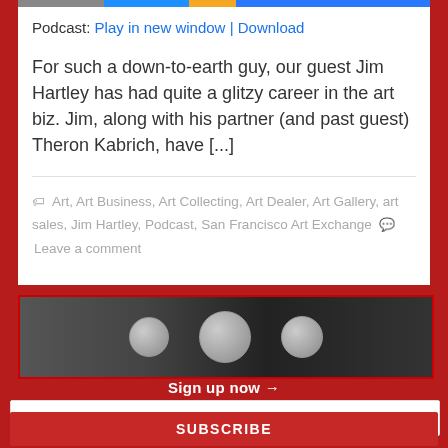Podcast: Play in new window | Download
For such a down-to-earth guy, our guest Jim Hartley has had quite a glitzy career in the art biz. Jim, along with his partner (and past guest) Theron Kabrich, have [...]
Art, Art Business, Art Collecting, Art Dealer, Art Gallery, art sales, Jim Hartley, Podcast, San Francisco Art Exchange  Leave a comment
[Figure (photo): Black and white photo of microphones in a podcast studio setting]
Sign up now →
Add your email to our list.
SUBSCRIBE